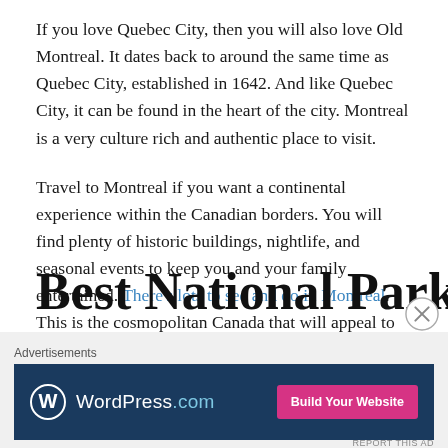If you love Quebec City, then you will also love Old Montreal. It dates back to around the same time as Quebec City, established in 1642. And like Quebec City, it can be found in the heart of the city. Montreal is a very culture rich and authentic place to visit.
Travel to Montreal if you want a continental experience within the Canadian borders. You will find plenty of historic buildings, nightlife, and seasonal events to keep you and your family entertained. There's lots to see and do in Montreal. This is the cosmopolitan Canada that will appeal to everyone.
Best National Parks
[Figure (other): WordPress.com advertisement banner with logo and 'Build Your Website' button]